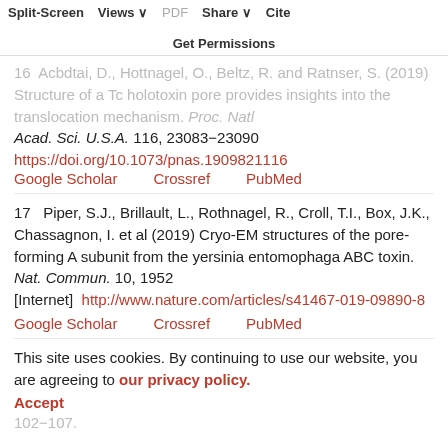Split-Screen  Views  PDF  Share  Cite  Get Permissions
16  Acbdtai, D., Hottnagel, O., Beltz, R. and Ratnser, S. (2019) Structure of a Tc holotoxin pore provides insights into the translocation mechanism. Proc. Natl Acad. Sci. U.S.A. 116, 23083–23090
https://doi.org/10.1073/pnas.1909821116
Google Scholar   Crossref   PubMed
17   Piper, S.J., Brillault, L., Rothnagel, R., Croll, T.I., Box, J.K., Chassagnon, I. et al (2019) Cryo-EM structures of the pore-forming A subunit from the yersinia entomophaga ABC toxin. Nat. Commun. 10, 1952 [Internet]  http://www.nature.com/articles/s41467-019-09890-8
Google Scholar   Crossref   PubMed
This site uses cookies. By continuing to use our website, you are agreeing to our privacy policy. Accept
18  Andersen, D.A., Shortle, M., be lersen, Id and Leheio, b. (2020) Structural insights into the transition of Clostridioides difficile binary toxin from prepore to pore. Nat. Microbiol. 5, 102–107.